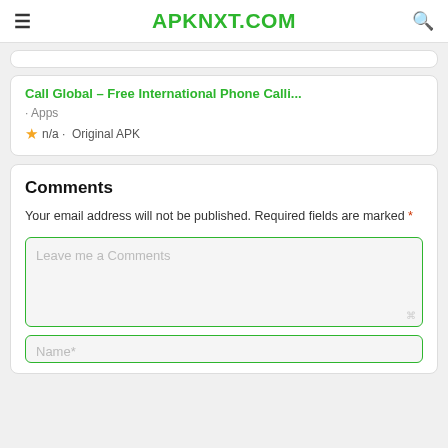APKNXT.COM
Call Global - Free International Phone Calli... · Apps ★ n/a · Original APK
Comments
Your email address will not be published. Required fields are marked *
Leave me a Comments
Name*